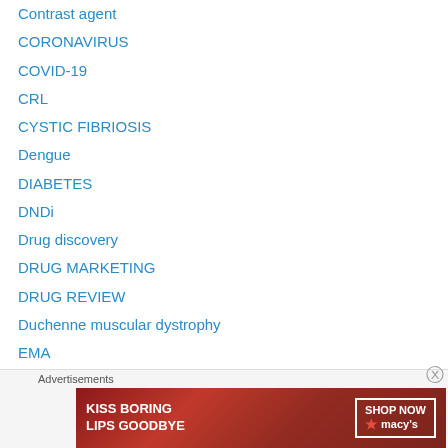Contrast agent
CORONAVIRUS
COVID-19
CRL
CYSTIC FIBRIOSIS
Dengue
DIABETES
DNDi
Drug discovery
DRUG MARKETING
DRUG REVIEW
Duchenne muscular dystrophy
EMA
EU 2003
EU 2005
EU 2014
EU 2015
[Figure (advertisement): Macy's advertisement: KISS BORING LIPS GOODBYE with SHOP NOW button and Macy's star logo on dark red background]